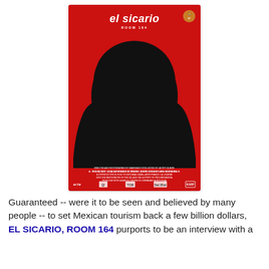[Figure (illustration): Movie poster for 'el sicario ROOM 164' — a red background with a large black silhouette of a hooded figure in the center. White text at top reads 'el sicario' in bold italic and 'ROOM 164' below. Venice Film Festival lion logo at top right. Film credits and sponsor logos at bottom in white text.]
Guaranteed -- were it to be seen and believed by many people -- to set Mexican tourism back a few billion dollars, EL SICARIO, ROOM 164 purports to be an interview with a